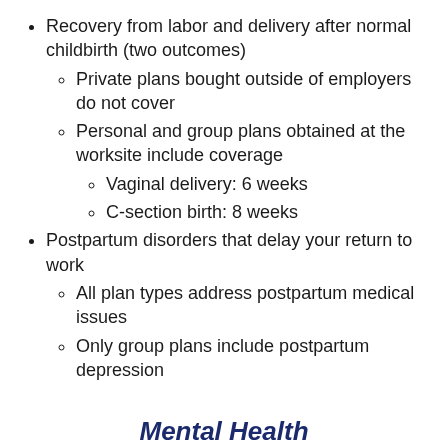Recovery from labor and delivery after normal childbirth (two outcomes)
Private plans bought outside of employers do not cover
Personal and group plans obtained at the worksite include coverage
Vaginal delivery: 6 weeks
C-section birth: 8 weeks
Postpartum disorders that delay your return to work
All plan types address postpartum medical issues
Only group plans include postpartum depression
Mental Health
Short-term disability in Texas works differently for